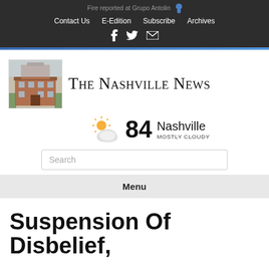Fire reported at Grupo Antolin
Contact Us  E-Edition  Subscribe  Archives
[Figure (logo): The Nashville News logo with building photo and newspaper name in small-caps serif font]
[Figure (infographic): Weather widget showing mostly cloudy icon, temperature 84, Nashville, MOSTLY CLOUDY]
Search
Menu
Suspension Of Disbelief,